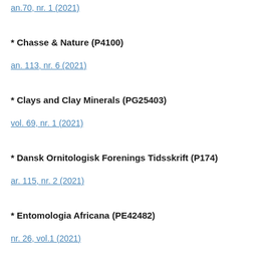an.70, nr. 1 (2021)
* Chasse & Nature (P4100)
an. 113, nr. 6 (2021)
* Clays and Clay Minerals (PG25403)
vol. 69, nr. 1 (2021)
* Dansk Ornitologisk Forenings Tidsskrift (P174)
ar. 115, nr. 2 (2021)
* Entomologia Africana (PE42482)
nr. 26, vol.1 (2021)